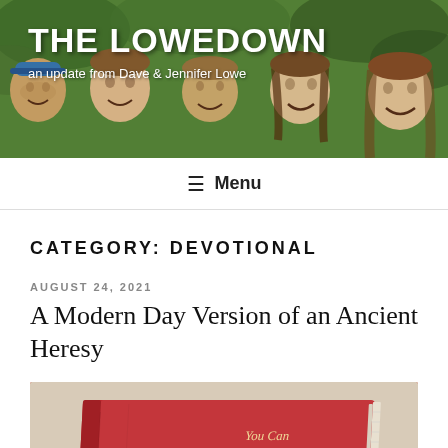[Figure (photo): Header banner with illustrated/comic-style image of smiling people outdoors, with green foliage background. White text overlay shows blog title and subtitle.]
THE LOWEDOWN
an update from Dave & Jennifer Lowe
≡ Menu
CATEGORY: DEVOTIONAL
AUGUST 24, 2021
A Modern Day Version of an Ancient Heresy
[Figure (photo): A red hardcover book lying on a light surface. Gold/cream lettering on the cover reads: You Can Live Forever in Paradise on Earth]